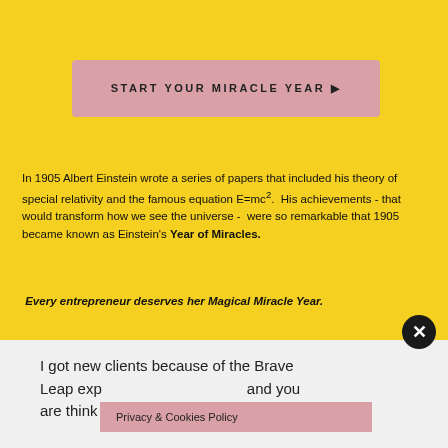[Figure (other): Pink button with text START YOUR MIRACLE YEAR ▶ on yellow background]
In 1905 Albert Einstein wrote a series of papers that included his theory of special relativity and the famous equation E=mc².  His achievements - that would transform how we see the universe -  were so remarkable that 1905 became known as Einstein's Year of Miracles.
Every entrepreneur deserves her Magical Miracle Year.
I got new clients because of the Brave Leap exp... and you are think...
Privacy & Cookies Policy